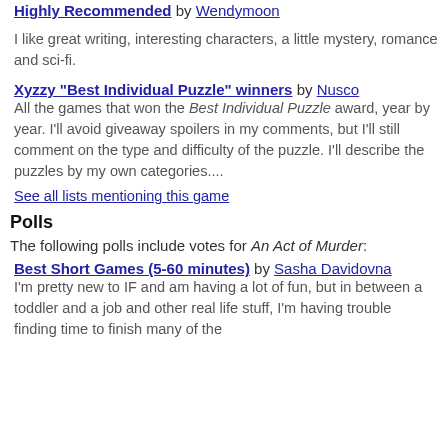Highly Recommended by Wendymoon
I like great writing, interesting characters, a little mystery, romance and sci-fi.
Xyzzy "Best Individual Puzzle" winners by Nusco
All the games that won the Best Individual Puzzle award, year by year. I'll avoid giveaway spoilers in my comments, but I'll still comment on the type and difficulty of the puzzle. I'll describe the puzzles by my own categories....
See all lists mentioning this game
Polls
The following polls include votes for An Act of Murder:
Best Short Games (5-60 minutes) by Sasha Davidovna
I'm pretty new to IF and am having a lot of fun, but in between a toddler and a job and other real life stuff, I'm having trouble finding time to finish many of the